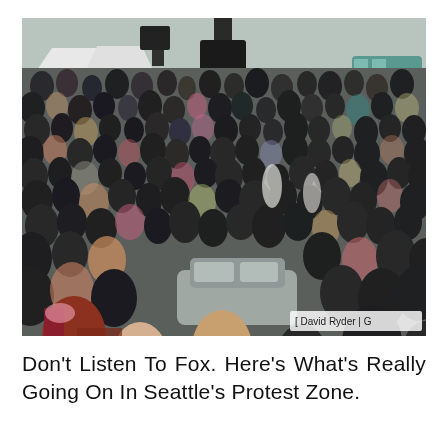[Figure (photo): Aerial view of a massive crowd of protesters filling a street in Seattle's protest zone. Many people are wearing masks. A car is visible in the lower middle of the crowd. White tents and a teal/turquoise bus are visible in the background. A photographer credit watermark reads '[David Ryder | G' in the lower right corner.]
Don't Listen To Fox. Here's What's Really Going On In Seattle's Protest Zone.